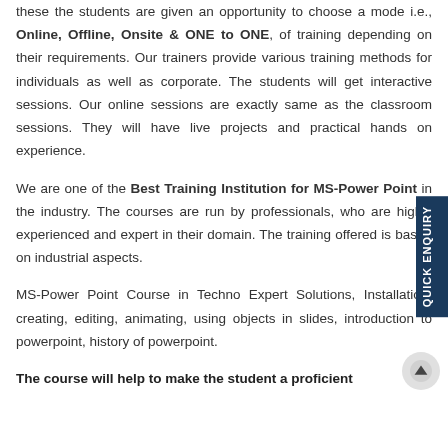these the students are given an opportunity to choose a mode i.e., Online, Offline, Onsite & ONE to ONE, of training depending on their requirements. Our trainers provide various training methods for individuals as well as corporate. The students will get interactive sessions. Our online sessions are exactly same as the classroom sessions. They will have live projects and practical hands on experience.
We are one of the Best Training Institution for MS-Power Point in the industry. The courses are run by professionals, who are highly experienced and expert in their domain. The training offered is based on industrial aspects.
MS-Power Point Course in Techno Expert Solutions, Installation, creating, editing, animating, using objects in slides, introduction to powerpoint, history of powerpoint.
The course will help to make the student a proficient